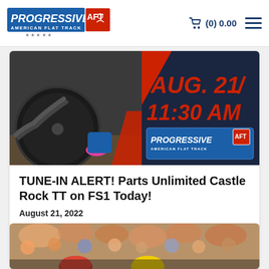Progressive American Flat Track — (0) 0.00
[Figure (photo): Banner image showing a flat track motorcycle racer close-up on the left and text 'AUG. 21 / 11:30 AM' in bold red on dark background, with Progressive American Flat Track logo on the right]
TUNE-IN ALERT! Parts Unlimited Castle Rock TT on FS1 Today!
August 21, 2022
[Figure (photo): Crowd scene at a flat track racing event, with blurred spectators in background and helmeted riders visible in foreground]